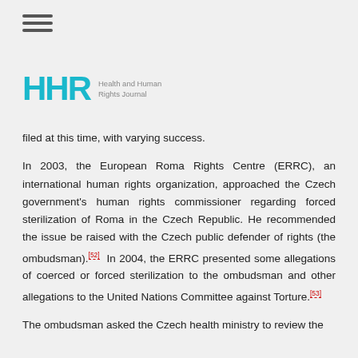[Figure (other): Hamburger menu icon with three horizontal lines]
[Figure (logo): HHR Health and Human Rights Journal logo with teal/cyan letters HHR and gray subtitle text]
filed at this time, with varying success.
In 2003, the European Roma Rights Centre (ERRC), an international human rights organization, approached the Czech government's human rights commissioner regarding forced sterilization of Roma in the Czech Republic. He recommended the issue be raised with the Czech public defender of rights (the ombudsman).[52] In 2004, the ERRC presented some allegations of coerced or forced sterilization to the ombudsman and other allegations to the United Nations Committee against Torture.[53]
The ombudsman asked the Czech health ministry to review the